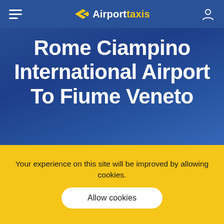Airporttaxis
Rome Ciampino International Airport To Fiume Veneto
Your experience on this site will be improved by allowing cookies.